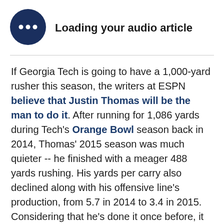[Figure (other): Dark navy circle icon with three horizontal dots representing an audio loading button]
Loading your audio article
If Georgia Tech is going to have a 1,000-yard rusher this season, the writers at ESPN believe that Justin Thomas will be the man to do it. After running for 1,086 yards during Tech's Orange Bowl season back in 2014, Thomas' 2015 season was much quieter -- he finished with a meager 488 yards rushing. His yards per carry also declined along with his offensive line's production, from 5.7 in 2014 to 3.4 in 2015. Considering that he's done it once before, it would be silly to say that Thomas is completely incapable of going for the millennium mark this season; the only things keeping him down are offensive line play and possible injury issues. As for the rest of the ACC's